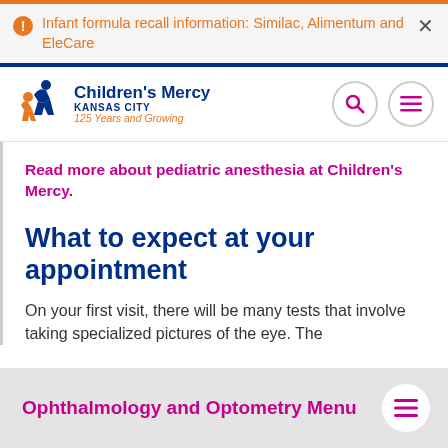Infant formula recall information: Similac, Alimentum and EleCare
[Figure (logo): Children's Mercy Kansas City logo with text '125 Years and Growing']
Read more about pediatric anesthesia at Children's Mercy.
What to expect at your appointment
On your first visit, there will be many tests that involve taking specialized pictures of the eye. The
Ophthalmology and Optometry Menu